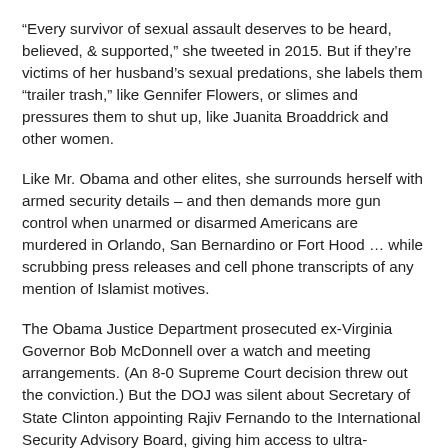“Every survivor of sexual assault deserves to be heard, believed, & supported,” she tweeted in 2015. But if they’re victims of her husband’s sexual predations, she labels them “trailer trash,” like Gennifer Flowers, or slimes and pressures them to shut up, like Juanita Broaddrick and other women.
Like Mr. Obama and other elites, she surrounds herself with armed security details – and then demands more gun control when unarmed or disarmed Americans are murdered in Orlando, San Bernardino or Fort Hood … while scrubbing press releases and cell phone transcripts of any mention of Islamist motives.
The Obama Justice Department prosecuted ex-Virginia Governor Bob McDonnell over a watch and meeting arrangements. (An 8-0 Supreme Court decision threw out the conviction.) But the DOJ was silent about Secretary of State Clinton appointing Rajiv Fernando to the International Security Advisory Board, giving him access to ultra-sensitive intelligence – when his only apparent “qualification” was raising millions of dollars for Mrs. Clinton’s 2008 presidential campaign, donating hundreds of thousands to the Clinton…